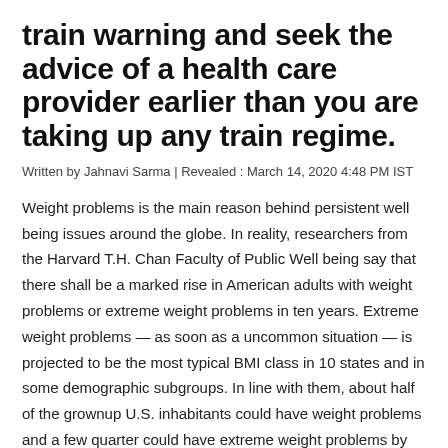train warning and seek the advice of a health care provider earlier than you are taking up any train regime.
Written by Jahnavi Sarma | Revealed : March 14, 2020 4:48 PM IST
Weight problems is the main reason behind persistent well being issues around the globe. In reality, researchers from the Harvard T.H. Chan Faculty of Public Well being say that there shall be a marked rise in American adults with weight problems or extreme weight problems in ten years. Extreme weight problems — as soon as a uncommon situation — is projected to be the most typical BMI class in 10 states and in some demographic subgroups. In line with them, about half of the grownup U.S. inhabitants could have weight problems and a few quarter could have extreme weight problems by 2030. The scenario isn't significantly better elsewhere on this planet.